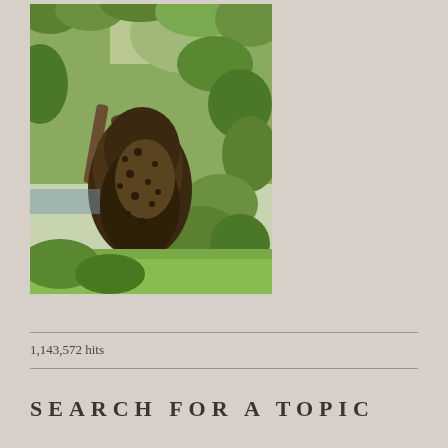[Figure (photo): A large swarm of bees clustered on a tree branch, hanging in a teardrop shape. The background shows green leaves and grass.]
1,143,572 hits
SEARCH FOR A TOPIC